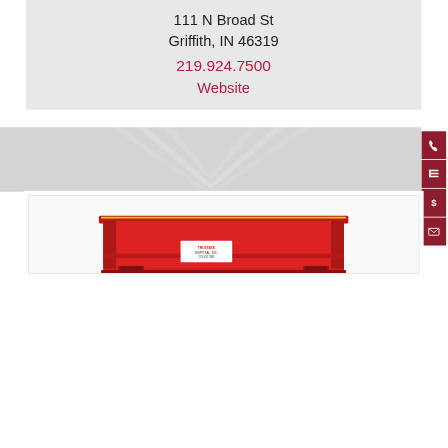111 N Broad St
Griffith, IN 46319
219.924.7500
Website
[Figure (photo): Red dumpster/roll-off container with company label, partially visible at bottom of page]
[Figure (infographic): Right sidebar with four dark red icon buttons: phone, menu/list, dollar sign, envelope]